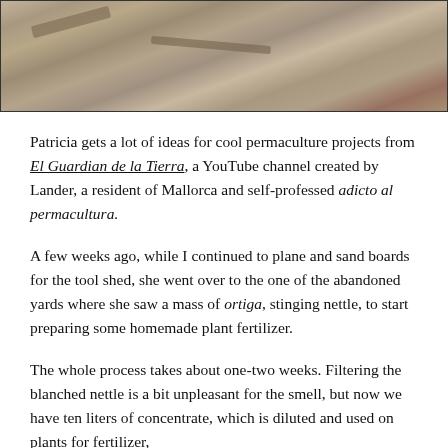[Figure (photo): A photograph of a dried, barren earth/soil surface with sparse dry vegetation and rocks, appears to be an outdoor garden or yard area.]
Patricia gets a lot of ideas for cool permaculture projects from El Guardian de la Tierra, a YouTube channel created by Lander, a resident of Mallorca and self-professed adicto al permacultura.
A few weeks ago, while I continued to plane and sand boards for the tool shed, she went over to the one of the abandoned yards where she saw a mass of ortiga, stinging nettle, to start preparing some homemade plant fertilizer.
The whole process takes about one-two weeks. Filtering the blanched nettle is a bit unpleasant for the smell, but now we have ten liters of concentrate, which is diluted and used on plants for fertilizer,